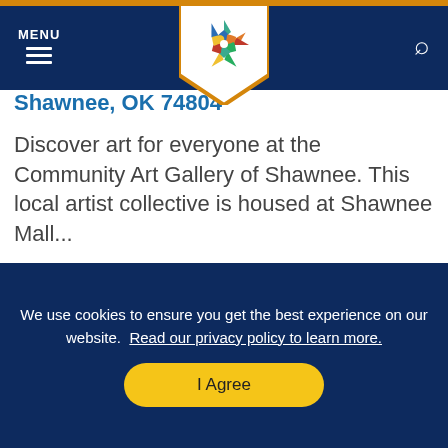MENU [hamburger icon] [logo] [search icon]
Shawnee, OK 74804
Discover art for everyone at the Community Art Gallery of Shawnee. This local artist collective is housed at Shawnee Mall...
MEHR LESEN >
[Figure (photo): Partial view of artwork or gallery images at the bottom of the page]
We use cookies to ensure you get the best experience on our website. Read our privacy policy to learn more.
I Agree